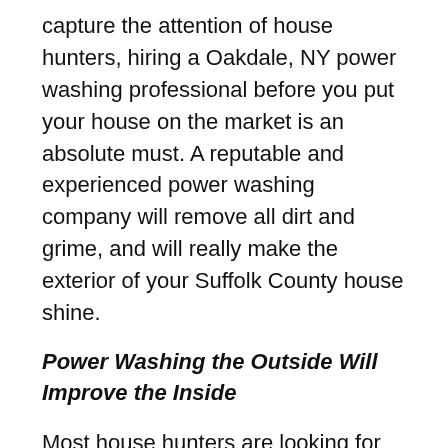capture the attention of house hunters, hiring a Oakdale, NY power washing professional before you put your house on the market is an absolute must. A reputable and experienced power washing company will remove all dirt and grime, and will really make the exterior of your Suffolk County house shine.
Power Washing the Outside Will Improve the Inside
Most house hunters are looking for properties that are clean, pristine, and healthy. Believe it or not, the condition of the exterior surfaces will have a direct impact on the appearance, the cleanliness, and the healthiness of the interior of your Suffolk County home.